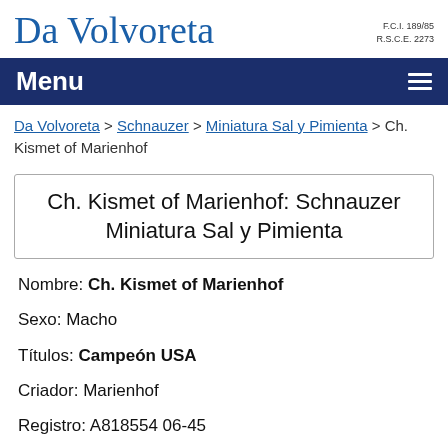Da Volvoreta
F.C.I. 189/85
R.S.C.E. 2273
Menu
Da Volvoreta > Schnauzer > Miniatura Sal y Pimienta > Ch. Kismet of Marienhof
Ch. Kismet of Marienhof: Schnauzer Miniatura Sal y Pimienta
Nombre: Ch. Kismet of Marienhof
Sexo: Macho
Títulos: Campeón USA
Criador: Marienhof
Registro: A818554 06-45